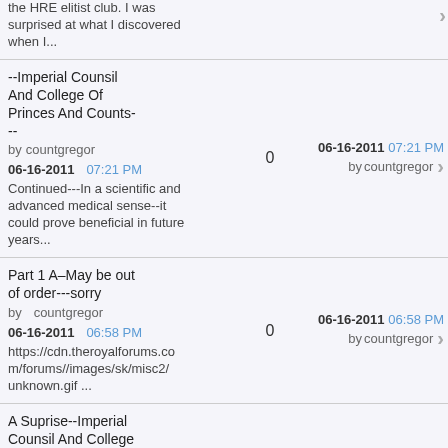the HRE elitist club. I was surprised at what I discovered when I...
--Imperial Counsil And College Of Princes And Counts---
by countgregor
06-16-2011 07:21 PM
Continued---In a scientific and advanced medical sense--it could prove beneficial in future years...
0
06-16-2011 07:21 PM by countgregor
Part 1 A--May be out of order---sorry
by countgregor
06-16-2011 06:58 PM
https://cdn.theroyalforums.co m/forums//images/sk/misc2/ unknown.gif ...
0
06-16-2011 06:58 PM by countgregor
A Suprise--Imperial Counsil And College Of Princes And Counts
by countgregor
06-16-2011 06:48 PM
A comment I wrote on behalf of the Imperial Order--I hope His Majesty approves ...
0
06-16-2011 06:48 PM by countgregor